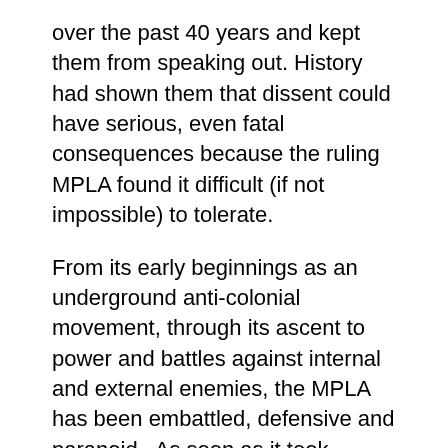over the past 40 years and kept them from speaking out. History had shown them that dissent could have serious, even fatal consequences because the ruling MPLA found it difficult (if not impossible) to tolerate.
From its early beginnings as an underground anti-colonial movement, through its ascent to power and battles against internal and external enemies, the MPLA has been embattled, defensive and paranoid.  As soon as it took power, it faced a civil war from rival movements acting as cold war proxies and before long there were internal divisions too.  An alleged uprising by one faction of erstwhile comrades-in-arms on May 27, 1977 resulted in the wholesale slaughter of anyone perceived an an enemy.  You were either with, or against, the MPLA.  There  was no middle ground.
The civil war dragged on until 2002:  over three decades during which the culture of silence was cemented